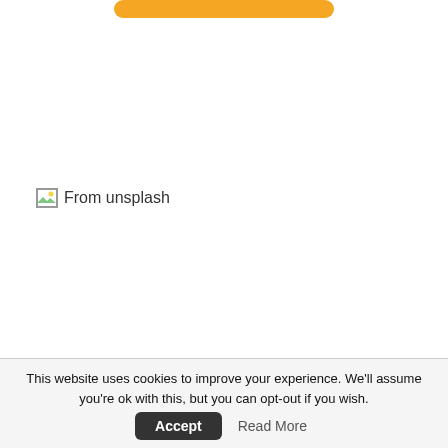[Figure (other): Partially visible yellow/orange rounded button at the top of the page]
[Figure (photo): Broken image placeholder with alt text 'From unsplash']
This website uses cookies to improve your experience. We'll assume you're ok with this, but you can opt-out if you wish. Accept Read More